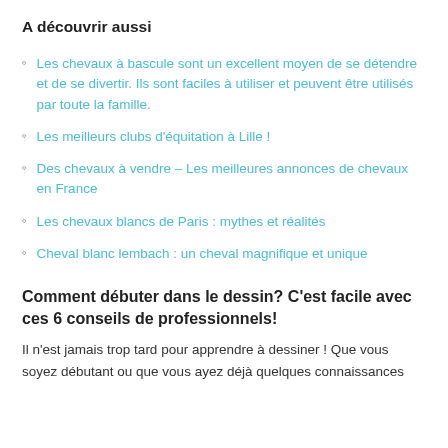A découvrir aussi
Les chevaux à bascule sont un excellent moyen de se détendre et de se divertir. Ils sont faciles à utiliser et peuvent être utilisés par toute la famille.
Les meilleurs clubs d'équitation à Lille !
Des chevaux à vendre – Les meilleures annonces de chevaux en France
Les chevaux blancs de Paris : mythes et réalités
Cheval blanc lembach : un cheval magnifique et unique
Comment débuter dans le dessin? C'est facile avec ces 6 conseils de professionnels!
Il n'est jamais trop tard pour apprendre à dessiner ! Que vous soyez débutant ou que vous ayez déjà quelques connaissances